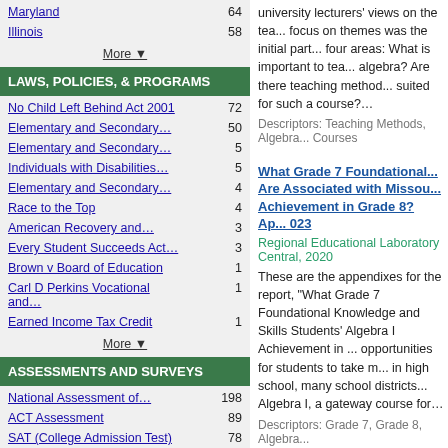Maryland  64
Illinois  58
More ▼
LAWS, POLICIES, & PROGRAMS
No Child Left Behind Act 2001  72
Elementary and Secondary…  50
Elementary and Secondary…  5
Individuals with Disabilities…  5
Elementary and Secondary…  4
Race to the Top  4
American Recovery and…  3
Every Student Succeeds Act…  3
Brown v Board of Education  1
Carl D Perkins Vocational and…  1
Earned Income Tax Credit  1
More ▼
ASSESSMENTS AND SURVEYS
National Assessment of…  198
ACT Assessment  89
SAT (College Admission Test)  78
Trends in International...  49
university lecturers' views on the tea... focus on themes was the initial part... four areas: What is important to tea... algebra? Are there teaching method... suited for such a course?…
Descriptors: Teaching Methods, Algebra... Courses
What Grade 7 Foundational... Are Associated with Missou... Achievement in Grade 8? Ap... 023
Regional Educational Laboratory Central, 2020
These are the appendixes for the report, "What Grade 7 Foundational Knowledge and Skills Students' Algebra I Achievement in ... opportunities for students to take m... in high school, many school districts... Algebra I, a gateway course for…
Descriptors: Grade 7, Grade 8, Algebra...